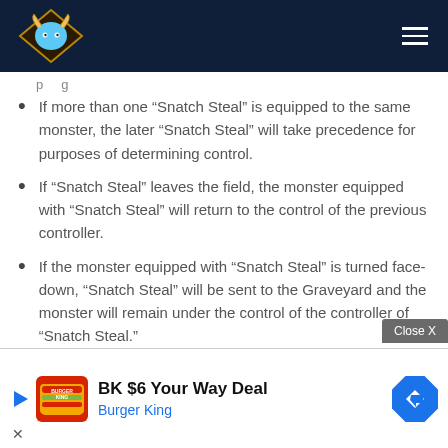[Site header with logo and navigation]
If more than one “Snatch Steal” is equipped to the same monster, the later “Snatch Steal” will take precedence for purposes of determining control.
If “Snatch Steal” leaves the field, the monster equipped with “Snatch Steal” will return to the control of the previous controller.
If the monster equipped with “Snatch Steal” is turned face-down, “Snatch Steal” will be sent to the Graveyard and the monster will remain under the control of the controller of “Snatch Steal.”
If a monster equipped with “Snatch St...
[Figure (screenshot): Advertisement banner for Burger King $6 Your Way Deal with Close X button overlay]